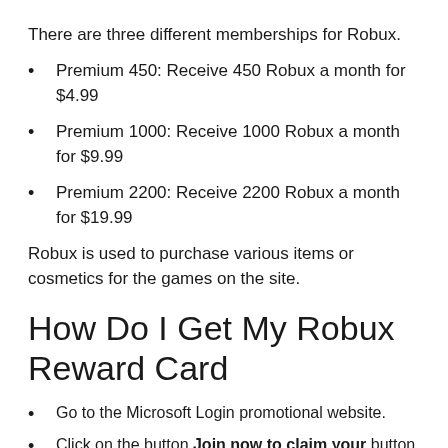There are three different memberships for Robux.
Premium 450: Receive 450 Robux a month for $4.99
Premium 1000: Receive 1000 Robux a month for $9.99
Premium 2200: Receive 2200 Robux a month for $19.99
Robux is used to purchase various items or cosmetics for the games on the site.
How Do I Get My Robux Reward Card
Go to the Microsoft Login promotional website.
Click on the button Join now to claim your button Robux .
You will be redirected to your Microsoft login page where